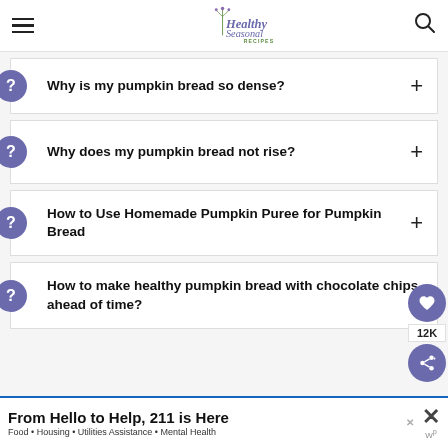Healthy Seasonal Recipes
Why is my pumpkin bread so dense?
Why does my pumpkin bread not rise?
How to Use Homemade Pumpkin Puree for Pumpkin Bread
How to make healthy pumpkin bread with chocolate chips ahead of time?
From Hello to Help, 211 is Here
Food • Housing • Utilities Assistance • Mental Health